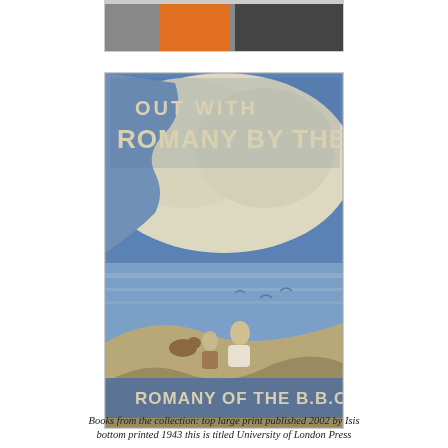[Figure (photo): Top partial image of a book cover with orange and dark elements, partially cropped]
[Figure (photo): Book cover of 'Out with Romany by the Sea' by Romany of the B.B.C. Blue and cream illustrated cover showing a man and child sitting on dunes watching seagulls over the sea, with white cliffs in background.]
Books from the collection: top large print published 2002 by Isis bottom printed 1943 this is titled University of London Press